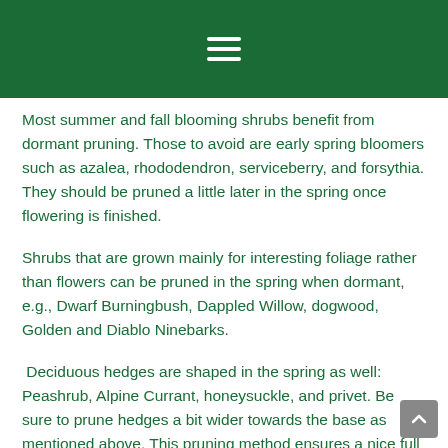≡
Most summer and fall blooming shrubs benefit from dormant pruning. Those to avoid are early spring bloomers such as azalea, rhododendron, serviceberry, and forsythia. They should be pruned a little later in the spring once flowering is finished.
Shrubs that are grown mainly for interesting foliage rather than flowers can be pruned in the spring when dormant, e.g., Dwarf Burningbush, Dappled Willow, dogwood, Golden and Diablo Ninebarks.
Deciduous hedges are shaped in the spring as well: Peashrub, Alpine Currant, honeysuckle, and privet. Be sure to prune hedges a bit wider towards the base as mentioned above. This pruning method ensures a nice full hedge right